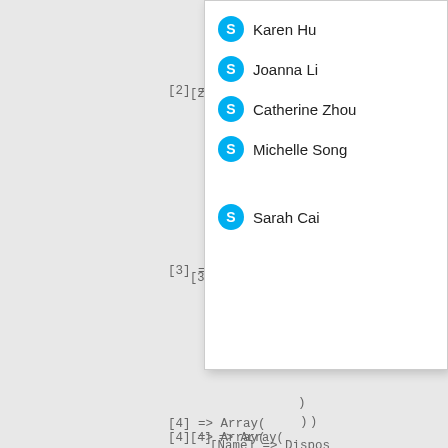[Figure (screenshot): Dropdown/autocomplete panel showing Skype-style user icons and names: Karen Hu, Joanna Li, Catherine Zhou, Michelle Song, Sarah Cai]
[2] =>
[3] =>
)
[4] => Array(
    [Name] => Dispos
    [Link] => /produ
    )
[5] => Array(
    [Name] => Dispos
    [Link] => /produ
    )
[6] => Array(
    [Name] => Dispos
    [Link] => /produ
    )
[7] => Array(
    [Name] => dispos